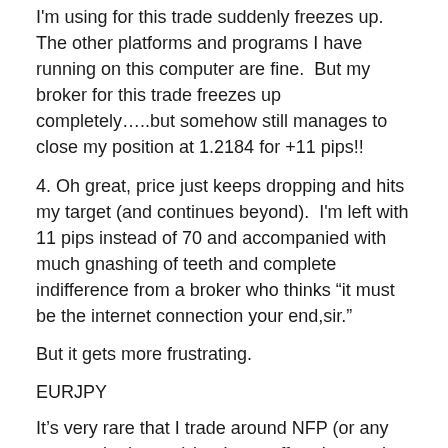I'm using for this trade suddenly freezes up.  The other platforms and programs I have running on this computer are fine.  But my broker for this trade freezes up completely…..but somehow still manages to close my position at 1.2184 for +11 pips!!
4. Oh great, price just keeps dropping and hits my target (and continues beyond).  I'm left with 11 pips instead of 70 and accompanied with much gnashing of teeth and complete indifference from a broker who thinks “it must be the internet connection your end,sir.”
But it gets more frustrating.
EURJPY
It’s very rare that I trade around NFP (or any news to be honest) but I was offered a good set-up and took a quarter